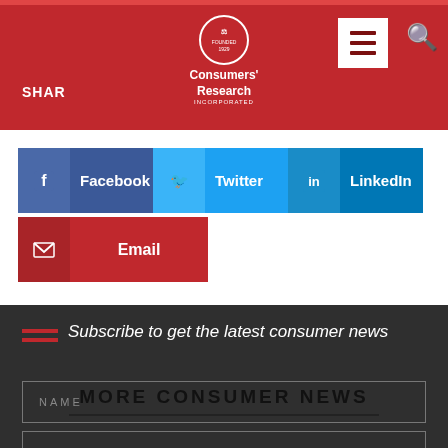[Figure (logo): Consumers' Research logo with circular emblem and brand name]
SHAR
[Figure (screenshot): Share buttons for Facebook, Twitter, LinkedIn, and Email]
Subscribe to get the latest consumer news
NAME
EMAIL
SUBSCRIBE
MORE CONSUMER NEWS